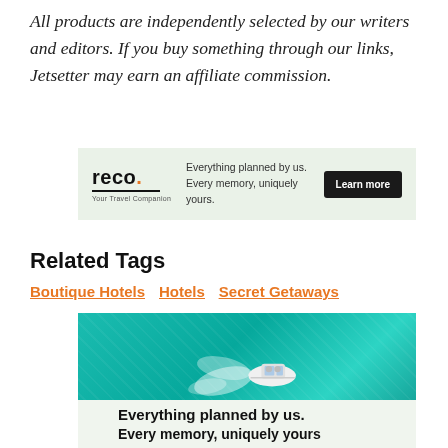All products are independently selected by our writers and editors. If you buy something through our links, Jetsetter may earn an affiliate commission.
[Figure (infographic): Advertisement banner for 'reco' travel planning service. Light green background with reco logo on left, tagline 'Everything planned by us. Every memory, uniquely yours.' in center, and dark 'Learn more' button on right.]
Related Tags
Boutique Hotels  Hotels  Secret Getaways
[Figure (photo): Aerial view of a white motorboat moving through turquoise/teal ocean water, with a white wake trail behind it. Below the photo is a light green section showing text 'Everything planned by us. Every memory, uniquely yours.']